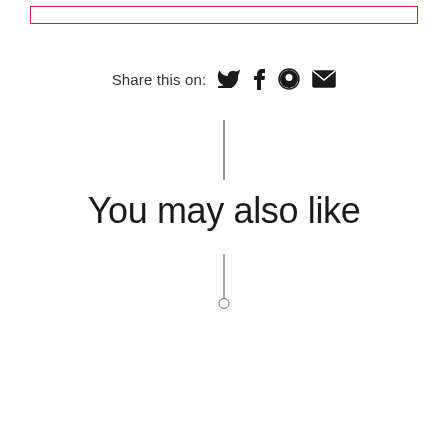[Figure (other): Red-bordered empty rectangle at top of page]
Share this on: [twitter] [facebook] [pinterest] [email]
[Figure (other): Vertical divider line]
You may also like
[Figure (other): Vertical divider line with small circle at bottom]